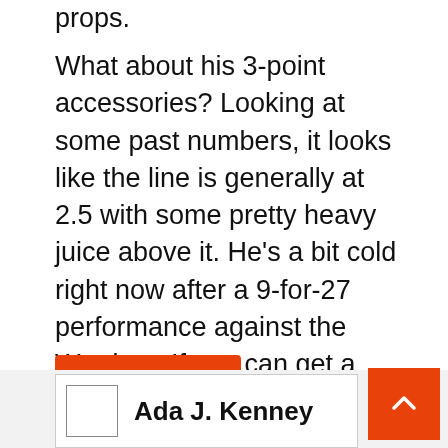props.
What about his 3-point accessories? Looking at some past numbers, it looks like the line is generally at 2.5 with some pretty heavy juice above it. He’s a bit cold right now after a 9-for-27 performance against the Warriors. If you can get a solid positive number under his 3, it’s probably worth it. Another cold shooting night or another solid defensive performance from Jazz can keep him in check.
Utah Jazz
Ada J. Kenney